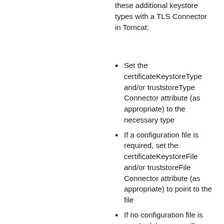these additional keystore types with a TLS Connector in Tomcat:
Set the certificateKeystoreType and/or truststoreType Connector attribute (as appropriate) to the necessary type
If a configuration file is required, set the certificateKeystoreFile and/or truststoreFile Connector attribute (as appropriate) to point to the file
If no configuration file is required then you will almost certainly need to explicitly set the certificateKeystoreFile and/or truststoreFile